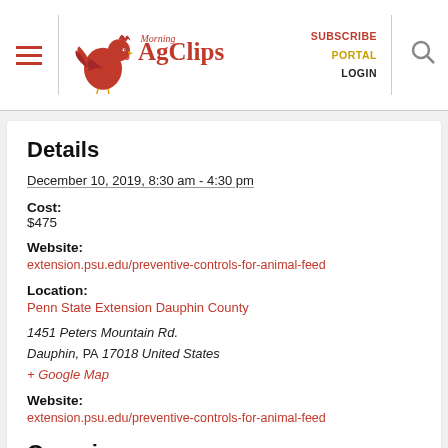Morning AgClips — SUBSCRIBE PORTAL LOGIN
Details
December 10, 2019, 8:30 am - 4:30 pm
Cost:
$475
Website:
extension.psu.edu/preventive-controls-for-animal-feed
Location:
Penn State Extension Dauphin County
1451 Peters Mountain Rd.
Dauphin, PA 17018 United States
+ Google Map
Website:
extension.psu.edu/preventive-controls-for-animal-feed
Organizer
Penn State Extension